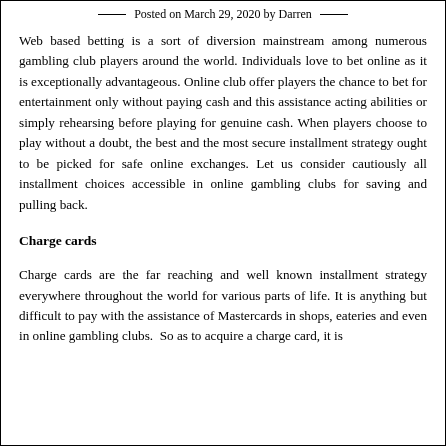— Posted on March 29, 2020 by Darren —
Web based betting is a sort of diversion mainstream among numerous gambling club players around the world. Individuals love to bet online as it is exceptionally advantageous. Online club offer players the chance to bet for entertainment only without paying cash and this assistance acting abilities or simply rehearsing before playing for genuine cash. When players choose to play without a doubt, the best and the most secure installment strategy ought to be picked for safe online exchanges. Let us consider cautiously all installment choices accessible in online gambling clubs for saving and pulling back.
Charge cards
Charge cards are the far reaching and well known installment strategy everywhere throughout the world for various parts of life. It is anything but difficult to pay with the assistance of Mastercards in shops, eateries and even in online gambling clubs.  So as to acquire a charge card, it is